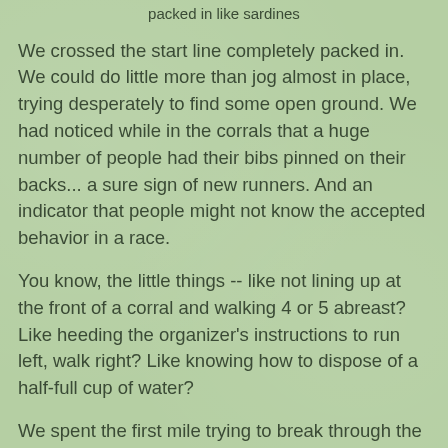packed in like sardines
We crossed the start line completely packed in. We could do little more than jog almost in place, trying desperately to find some open ground. We had noticed while in the corrals that a huge number of people had their bibs pinned on their backs... a sure sign of new runners. And an indicator that people might not know the accepted behavior in a race.
You know, the little things -- like not lining up at the front of a corral and walking 4 or 5 abreast? Like heeding the organizer's instructions to run left, walk right? Like knowing how to dispose of a half-full cup of water?
We spent the first mile trying to break through the crowds, dodging here and there, careening from one side of the road to the other. Many times we had to just stop short because there just wasn't any room. We started to get frustrated. Okay, *I* started to get frustrated. And then it dawned on us.
This was meant to be a fun run.